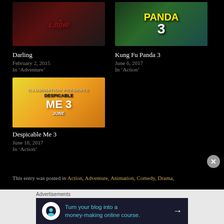[Figure (photo): Movie poster for Darling (2015) - horror film]
Darling
February 2, 2015
In 'Adventure'
[Figure (photo): Movie poster for Kung Fu Panda 3 (animated)]
Kung Fu Panda 3
June 6, 2017
In 'Action'
[Figure (photo): Movie poster for Despicable Me 3 - Illumination]
Despicable Me 3
June 18, 2017
In 'Action'
This entry was posted in Action, Adventure, Animation, Comedy, Drama,
Advertisements
Turn your blog into a money-making online course.